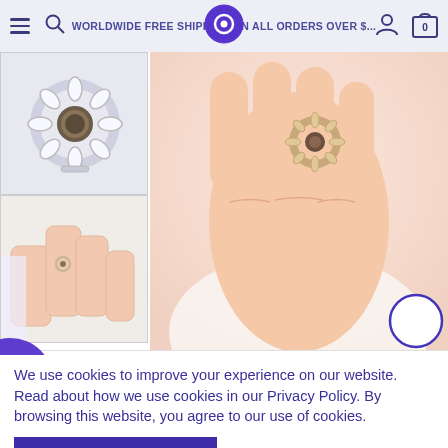WORLDWIDE FREE SHIPPING ON ALL ORDERS OVER $...
[Figure (photo): Thumbnail 1: Silver ring with flower/sunburst design and dark gemstone center on white background]
[Figure (photo): Thumbnail 2: Small ring on a hand with white fabric background]
[Figure (photo): Main product photo: Close-up of a hand wearing a rose gold ring with circular sunburst design and dark center stone, against soft pink/white background]
We use cookies to improve your experience on our website. Read about how we use cookies in our Privacy Policy. By browsing this website, you agree to our use of cookies.
Accept Cookies